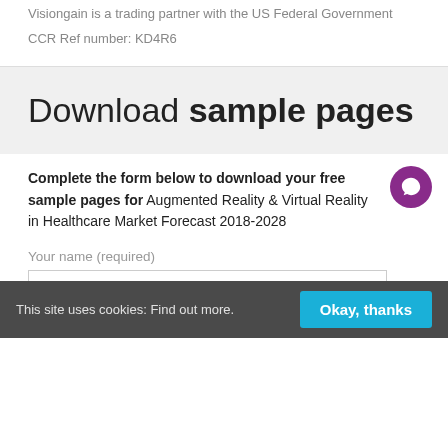Visiongain is a trading partner with the US Federal Government
CCR Ref number: KD4R6
Download sample pages
Complete the form below to download your free sample pages for Augmented Reality & Virtual Reality in Healthcare Market Forecast 2018-2028
Your name (required)
This site uses cookies: Find out more.